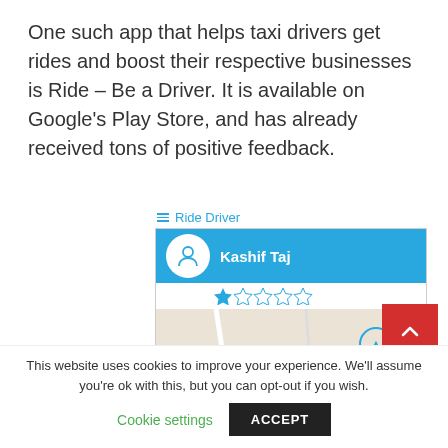One such app that helps taxi drivers get rides and boost their respective businesses is Ride – Be a Driver. It is available on Google's Play Store, and has already received tons of positive feedback.
[Figure (screenshot): Screenshot of the Ride Driver app showing a user profile header with avatar circle and name 'Kashif Taj', star rating below, and a map view with a location pin on yellow road.]
This website uses cookies to improve your experience. We'll assume you're ok with this, but you can opt-out if you wish.
Cookie settings   ACCEPT